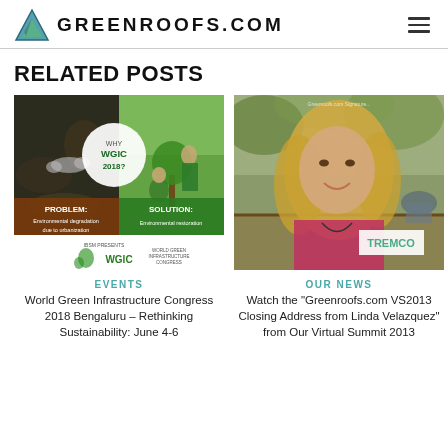GREENROOFS.COM
RELATED POSTS
[Figure (photo): Promotional image for World Green Infrastructure Congress 2018 Bengaluru showing environmental problem and solution with WGIC logo]
EVENTS
World Green Infrastructure Congress 2018 Bengaluru – Rethinking Sustainability: June 4-6
[Figure (photo): Video thumbnail of Linda Velazquez smiling outdoors with Tremco logo overlay]
OUR NEWS
Watch the "Greenroofs.com VS2013 Closing Address from Linda Velazquez" from Our Virtual Summit 2013